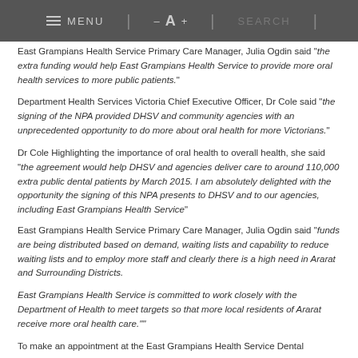MENU  –  A  +  SEARCH
East Grampians Health Service Primary Care Manager, Julia Ogdin said "the extra funding would help East Grampians Health Service to provide more oral health services to more public patients."
Department Health Services Victoria Chief Executive Officer, Dr Cole said "the signing of the NPA provided DHSV and community agencies with an unprecedented opportunity to do more about oral health for more Victorians."
Dr Cole Highlighting the importance of oral health to overall health, she said "the agreement would help DHSV and agencies deliver care to around 110,000 extra public dental patients by March 2015. I am absolutely delighted with the opportunity the signing of this NPA presents to DHSV and to our agencies, including East Grampians Health Service"
East Grampians Health Service Primary Care Manager, Julia Ogdin said "funds are being distributed based on demand, waiting lists and capability to reduce waiting lists and to employ more staff and clearly there is a high need in Ararat and Surrounding Districts.
East Grampians Health Service is committed to work closely with the Department of Health to meet targets so that more local residents of Ararat receive more oral health care.""
To make an appointment at the East Grampians Health Service Dental